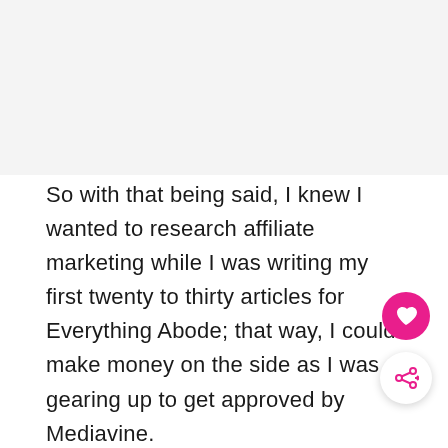[Figure (other): Light gray rectangular image placeholder at the top of the page]
So with that being said, I knew I wanted to research affiliate marketing while I was writing my first twenty to thirty articles for Everything Abode; that way, I could make money on the side as I was gearing up to get approved by Mediavine.
Also, I wanted to start learning what affiliate